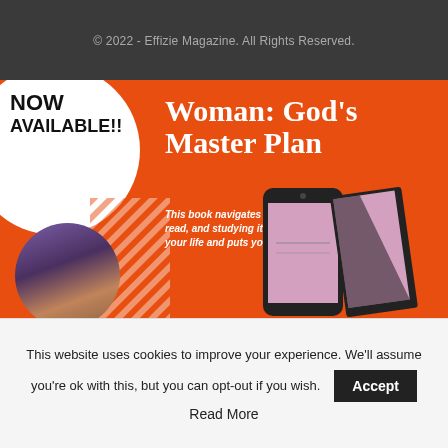© 2022 - Effizie Magazine. All Rights Reserved.
[Figure (infographic): Orange advertisement banner for the book 'Woman: God's Master Plan'. Features 'NOW AVAILABLE!!' text in black on white circle (top-left), large white serif title text, italic description text, author photo circle (bottom-left), diagonal stripe decoration, and phone/book mockup images on the right.]
This website uses cookies to improve your experience. We'll assume you're ok with this, but you can opt-out if you wish. Accept
Read More